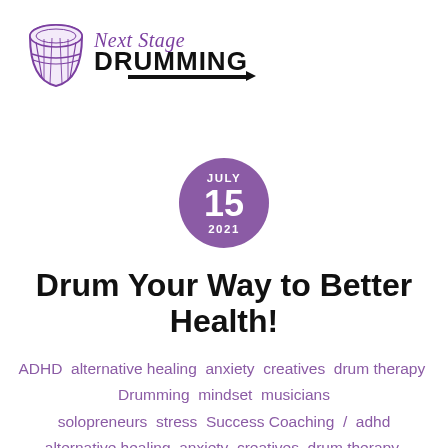[Figure (logo): Next Stage Drumming logo with purple djembe drum icon and stylized text]
JULY 15 2021
Drum Your Way to Better Health!
ADHD  alternative healing  anxiety  creatives  drum therapy  Drumming  mindset  musicians  solopreneurs  stress  Success Coaching  /  adhd  alternative healing  anxiety  creatives  drum therapy  drumming  mindset  musicians  special needs  stress relief